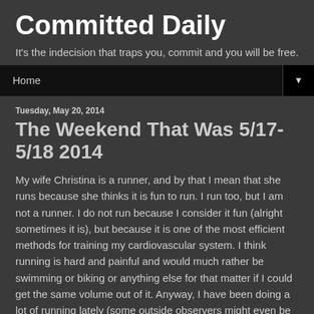Committed Daily
It's the indecision that traps you, commit and you will be free.
Home
Tuesday, May 20, 2014
The Weekend That Was 5/17-5/18 2014
My wife Christina is a runner, and by that I mean that she runs because she thinks it is fun to run. I run too, but I am not a runner. I do not run because I consider it fun (alright sometimes it is), but because it is one of the most efficient methods for training my cardiovascular system. I think running is hard and painful and would much rather be swimming or biking or anything else for that matter if I could get the same volume out of it. Anyway, I have been doing a lot of running lately (some outside observers might even be